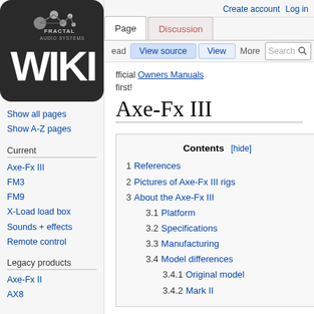Create account  Log in
[Figure (logo): Fractal Audio Systems Wiki logo — dark rounded rectangle with circular node graphic and 'FRACTAL AUDIO SYSTEMS' text above large 'WIKI' text in white]
Show all pages
Show A-Z pages
Current
Axe-Fx III
FM3
FM9
X-Load load box
Sounds + effects
Remote control
Legacy products
Axe-Fx II
AX8
Axe-Fx III
fficial Owners Manuals first!
| Contents [hide] |
| --- |
| 1  References |
| 2  Pictures of Axe-Fx III rigs |
| 3  About the Axe-Fx III |
| 3.1  Platform |
| 3.2  Specifications |
| 3.3  Manufacturing |
| 3.4  Model differences |
| 3.4.1  Original model |
| 3.4.2  Mark II |